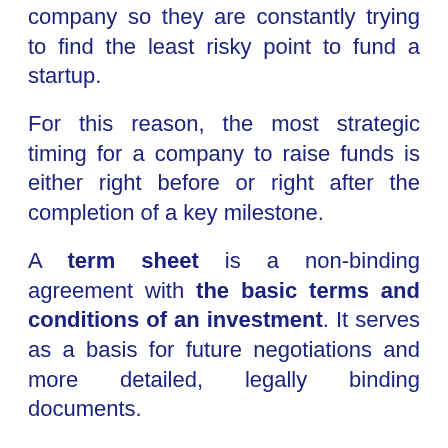company so they are constantly trying to find the least risky point to fund a startup.
For this reason, the most strategic timing for a company to raise funds is either right before or right after the completion of a key milestone.
A term sheet is a non-binding agreement with the basic terms and conditions of an investment. It serves as a basis for future negotiations and more detailed, legally binding documents.
The key sections of the typical VC Term Sheet are: